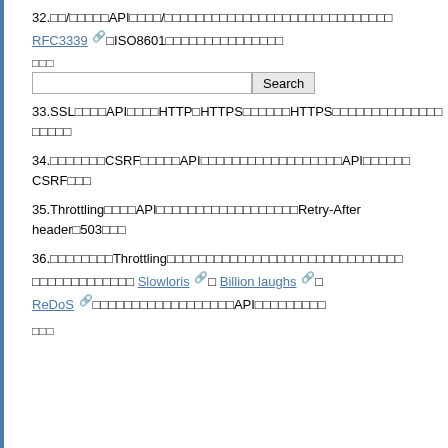32.□□/□□□□□API□□□□/□□□□□□□□□□□□□□□□□□□□□□□□□□□□□ RFC3339 □□ISO8601□□□□□□□□□□□□□□□
□□□
[Search input field]
33.SSL□□□□API□□□□HTTP□HTTPS□□□□□□HTTPS□□□□□□□□□□□□□□□□
34.□□□□□□□CSRF□□□□□API□□□□□□□□□□□□□□□□□□API□□□□□□ CSRF□□□
35.Throttling□□□□API□□□□□□□□□□□□□□□□□□Retry-After header□503□□□
36.□□□□□□□□Throttling□□□□□□□□□□□□□□□□□□□□□□□□□□□□□□□□□□ Slowloris □□ Billion laughs □□ ReDoS □□□□□□□□□□□□□□□□□□API□□□□□□□□□
□□□